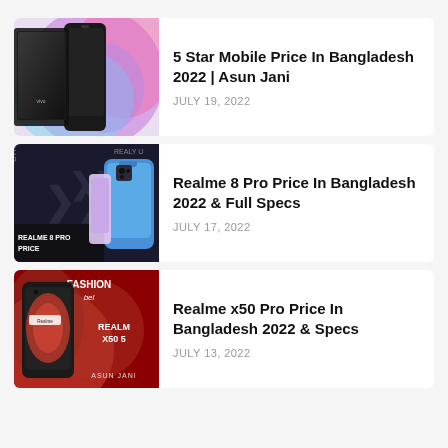[Figure (photo): 5 Star mobile phone product image with colorful swirl background]
5 Star Mobile Price In Bangladesh 2022 | Asun Jani
JULY 19, 2022
[Figure (photo): Realme 8 Pro phone on dark background with text REALME 8 PRO PRICE]
Realme 8 Pro Price In Bangladesh 2022 & Full Specs
JULY 17, 2022
[Figure (photo): Realme X50 Pro phone on red background with FASHION text and ASUN JANI branding]
Realme x50 Pro Price In Bangladesh 2022 & Specs
JULY 13, 2022